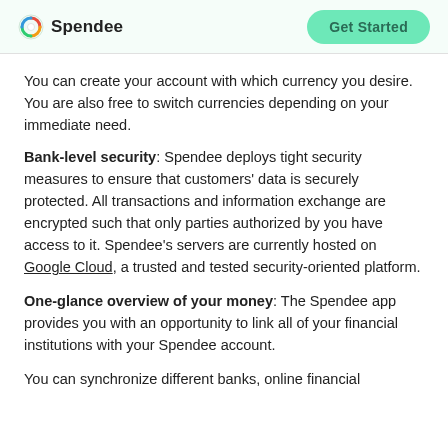Spendee | Get Started
You can create your account with which currency you desire. You are also free to switch currencies depending on your immediate need.
Bank-level security: Spendee deploys tight security measures to ensure that customers' data is securely protected. All transactions and information exchange are encrypted such that only parties authorized by you have access to it. Spendee's servers are currently hosted on Google Cloud, a trusted and tested security-oriented platform.
One-glance overview of your money: The Spendee app provides you with an opportunity to link all of your financial institutions with your Spendee account.
You can synchronize different banks, online financial